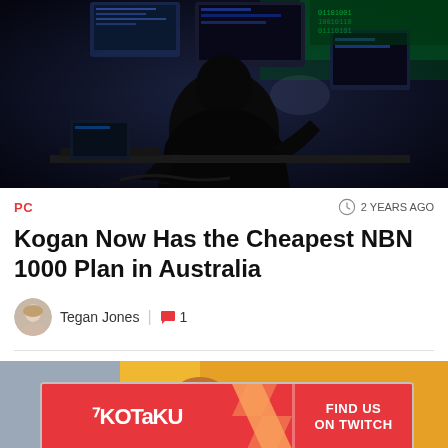[Figure (photo): Dark hacker room scene with person sitting at a desk surrounded by multiple computer monitors glowing with blue-green light, viewed from behind]
PC
2 YEARS AGO
Kogan Now Has the Cheapest NBN 1000 Plan in Australia
Tegan Jones | 1
[Figure (screenshot): Kotaku 'Find us on Twitch' promotional banner with red background and diagonal stripe pattern, overlaid on a TV studio background]